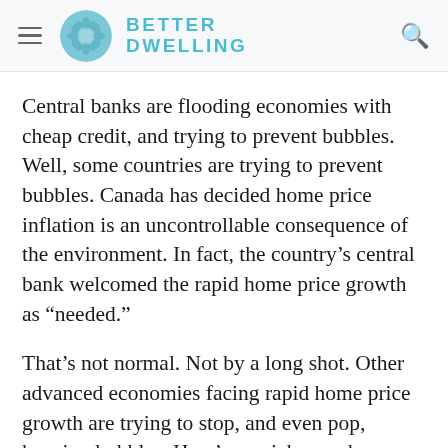BETTER DWELLING
Central banks are flooding economies with cheap credit, and trying to prevent bubbles. Well, some countries are trying to prevent bubbles. Canada has decided home price inflation is an uncontrollable consequence of the environment. In fact, the country’s central bank welcomed the rapid home price growth as “needed.”
That’s not normal. Not by a long shot. Other advanced economies facing rapid home price growth are trying to stop, and even pop, housing bubbles. Here’s a quick round